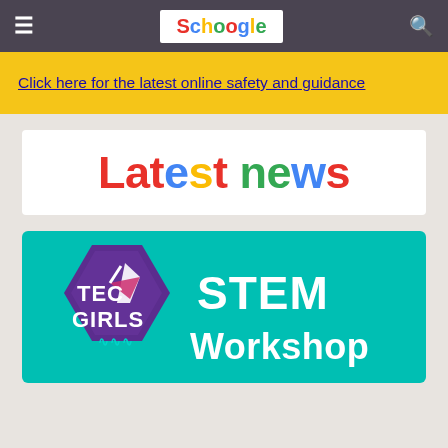Schoogle navigation header with hamburger menu and search icon
Click here for the latest online safety and guidance
Latest news
[Figure (illustration): TEC GIRLS STEM Workshop promotional banner on teal background with purple hexagon logo containing rocket/checkmark graphic and teal wave symbol, white bold text reading STEM Workshop]